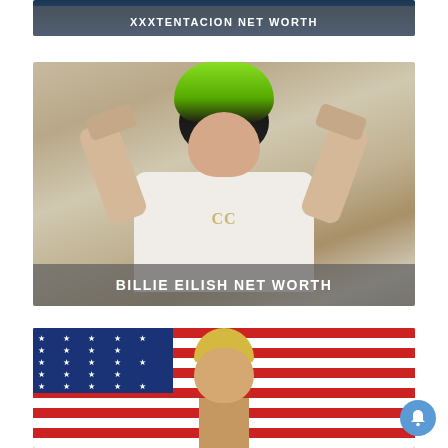[Figure (photo): Partial view of XXXTentacion article card showing a person in a blue outfit with overlay text 'XXXTENTACION NET WORTH']
[Figure (photo): Billie Eilish wearing white Chanel jacket with green-black hair, holding hands up showing tattoos and black nails, with overlay text 'BILLIE EILISH NET WORTH']
[Figure (photo): Partial view of Jake Paul article card showing a blonde man in front of an American flag]